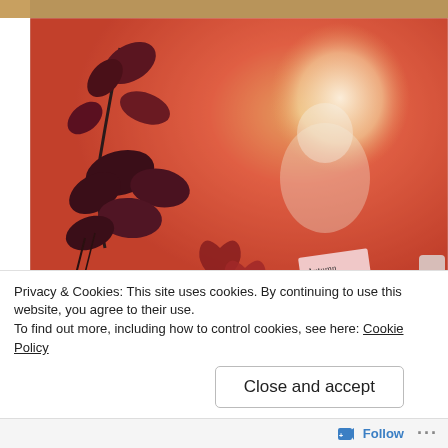[Figure (photo): Decorative artwork/collage photo showing pressed leaves (dark red/maroon rose branches, heart-shaped red leaves), a glowing white orb shape, and small paper tags with handwritten text on a warm red/orange textured background.]
Privacy & Cookies: This site uses cookies. By continuing to use this website, you agree to their use.
To find out more, including how to control cookies, see here: Cookie Policy
Close and accept
Follow